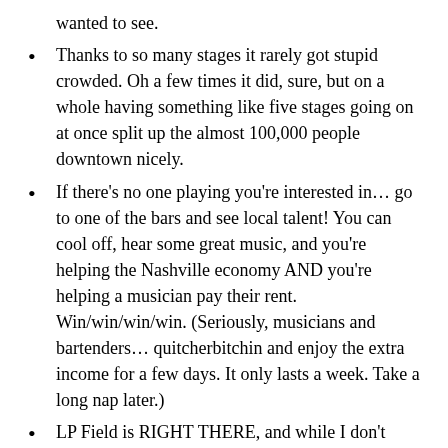wanted to see.
Thanks to so many stages it rarely got stupid crowded. Oh a few times it did, sure, but on a whole having something like five stages going on at once split up the almost 100,000 people downtown nicely.
If there’s no one playing you’re interested in… go to one of the bars and see local talent! You can cool off, hear some great music, and you’re helping the Nashville economy AND you’re helping a musician pay their rent. Win/win/win/win. (Seriously, musicians and bartenders… quitcherbitchin and enjoy the extra income for a few days. It only lasts a week. Take a long nap later.)
LP Field is RIGHT THERE, and while I don’t personally think you have to pop for tickets to the big concerts at night to feel like you got the CMA Fest experience, I also think those concerts at night are the closest thing to the former Fan Fair experience at the fairgrounds you’re going to find today. 20-30-minute sets of your favorite acts. A photo line to walk through and get closer pictures